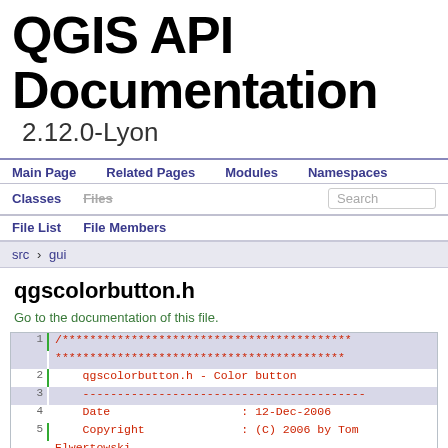QGIS API Documentation 2.12.0-Lyon
Main Page  Related Pages  Modules  Namespaces
Classes  Files  Search
File List  File Members
src  gui
qgscolorbutton.h
Go to the documentation of this file.
1  /***********************************************
   ***********************************************
2      qgscolorbutton.h - Color button
3      -----------------------------------------
4      Date                   : 12-Dec-2006
5      Copyright              : (C) 2006 by Tom Elwertowski
6      Email                  : telwertowski at